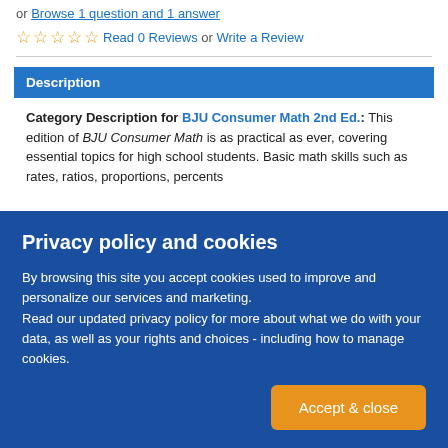or Browse 1 question and 1 answer
☆☆☆☆☆ Read 0 Reviews or Write a Review
Description
Category Description for BJU Consumer Math 2nd Ed.: This edition of BJU Consumer Math is as practical as ever, covering essential topics for high school students. Basic math skills such as rates, ratios, proportions, percents...
Privacy policy and cookies
By browsing this site you accept cookies used to improve and personalize our services and marketing. Read our updated privacy policy for more about what we do with your data, as well as your rights and choices - including how to manage cookies.
Accept & close